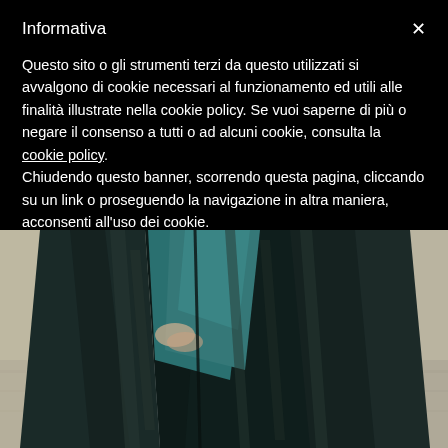Informativa
Questo sito o gli strumenti terzi da questo utilizzati si avvalgono di cookie necessari al funzionamento ed utili alle finalità illustrate nella cookie policy. Se vuoi saperne di più o negare il consenso a tutti o ad alcuni cookie, consulta la cookie policy. Chiudendo questo banner, scorrendo questa pagina, cliccando su un link o proseguendo la navigazione in altra maniera, acconsenti all'uso dei cookie.
[Figure (photo): Fashion photo of a person wearing a dark teal/black velvet long coat or robe, showing the lower body portion. The background is a blurred outdoor setting with neutral tones.]